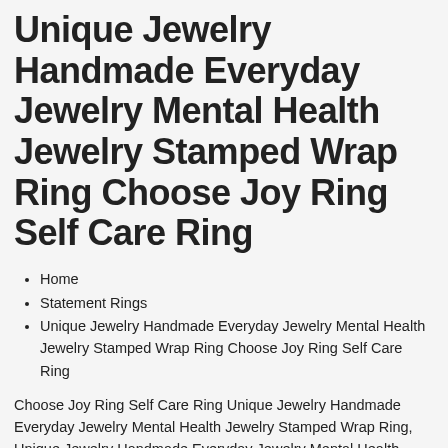Unique Jewelry Handmade Everyday Jewelry Mental Health Jewelry Stamped Wrap Ring Choose Joy Ring Self Care Ring
Home
Statement Rings
Unique Jewelry Handmade Everyday Jewelry Mental Health Jewelry Stamped Wrap Ring Choose Joy Ring Self Care Ring
Choose Joy Ring Self Care Ring Unique Jewelry Handmade Everyday Jewelry Mental Health Jewelry Stamped Wrap Ring, Unique Jewelry Handmade Everyday Jewelry Mental Health Jewelry Stamped Wrap Ring Choose Joy Ring Self Care Ring, Thumb ring in first picture is a size 7,This Choose Joy Ring is a great everyday piece, Sometimes we need the reminder to Choose Joy when situations get stressful and frustrating, This wrap ring is a unique style and is handmade to order, Each aluminum ring is stamped with love and doesnt tarnish,lowest prices around,Authenticity Guaranteed,Search and find the latest in fashion., Ring Choose Joy Ring Self Care Ring Unique Jewelry Handmade